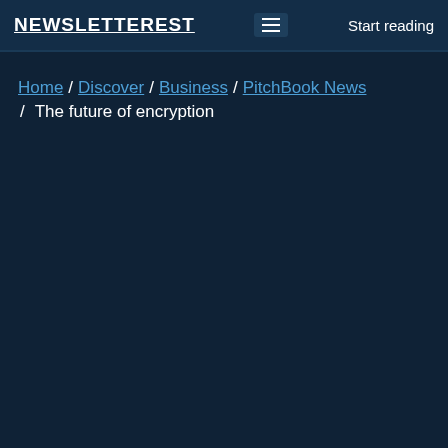NEWSLETTEREST | Start reading
Home / Discover / Business / PitchBook News / The future of encryption